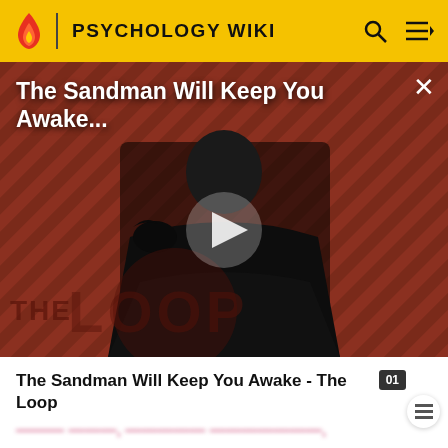PSYCHOLOGY WIKI
[Figure (screenshot): Video thumbnail showing The Sandman character in black cape against diagonal striped background, with THE LOOP logo watermark. Title overlay reads 'The Sandman Will Keep You Awake...' with a play button in the center and close X button.]
The Sandman Will Keep You Awake - The Loop
olfactory bulb, corpus callosum, lateral ventricles, septum pellucidum, ependyma, internal capsule, corona radiata, external capsule